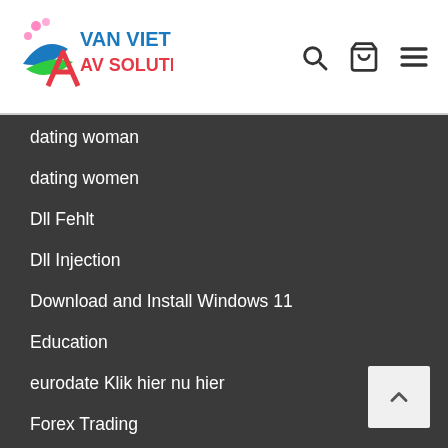VAN VIET AV SOLUTION
dating woman
dating women
Dll Fehlt
Dll Injection
Download and Install Windows 11
Education
eurodate Klik hier nu hier
Forex Trading
Gửi dữ liệu BHYT-VAS
Guyspy Klik hier nu hier
Hoạt động
Hookup Online Websites
hookup sites that work
hookup websites that work